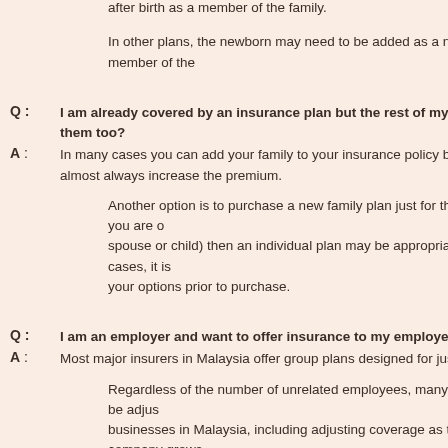after birth as a member of the family.
In other plans, the newborn may need to be added as a new member of the
Q : I am already covered by an insurance plan but the rest of my family is not. Can I cover them too?
A : In many cases you can add your family to your insurance policy by converting almost always increase the premium.
Another option is to purchase a new family plan just for them, or if you are only covering one person (spouse or child) then an individual plan may be appropriate. In all cases, it is your options prior to purchase.
Q : I am an employer and want to offer insurance to my employees. What a
A : Most major insurers in Malaysia offer group plans designed for just this purpo
Regardless of the number of unrelated employees, many plans can be adjusted for businesses in Malaysia, including adjusting coverage as the company grows
Because situations vary so much, it is necessary to have a consultation with work best for your company.
Group Malaysia Health Insurance Plans
As the economy of Malaysia continues to grow and employers seek to create packages to attract and retain quality workers, the value of offering compreh companies for their employees is further reinforced. By offering quality healt